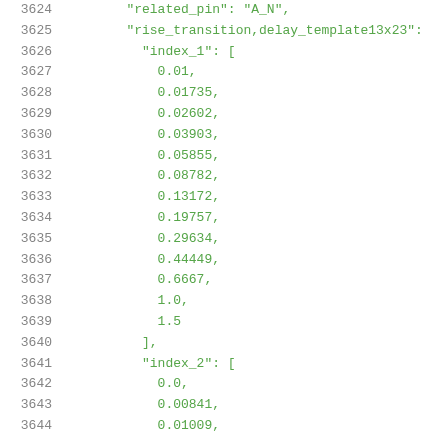3624    "related_pin": "A_N",
3625    "rise_transition,delay_template13x23":
3626      "index_1": [
3627        0.01,
3628        0.01735,
3629        0.02602,
3630        0.03903,
3631        0.05855,
3632        0.08782,
3633        0.13172,
3634        0.19757,
3635        0.29634,
3636        0.44449,
3637        0.6667,
3638        1.0,
3639        1.5
3640    ],
3641    "index_2": [
3642      0.0,
3643      0.00841,
3644      0.01009,